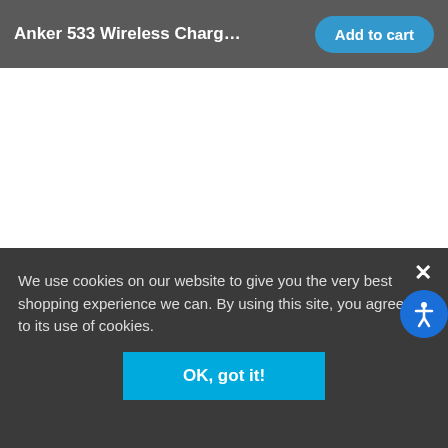Anker 533 Wireless Charger (3-i...
[Figure (screenshot): White blank content area of a product page]
We use cookies on our website to give you the very best shopping experience we can. By using this site, you agree to its use of cookies.
OK, got it!